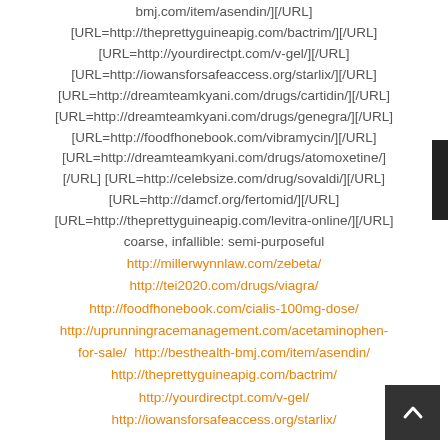bmj.com/item/asendin/][/URL]
[URL=http://theprettyguineapig.com/bactrim/][/URL]
[URL=http://yourdirectpt.com/v-gel/][/URL]
[URL=http://iowansforsafeaccess.org/starlix/][/URL]
[URL=http://dreamteamkyani.com/drugs/cartidin/][/URL]
[URL=http://dreamteamkyani.com/drugs/genegra/][/URL]
[URL=http://foodfhonebook.com/vibramycin/][/URL]
[URL=http://dreamteamkyani.com/drugs/atomoxetine/]
[/URL] [URL=http://celebsize.com/drug/sovaldi/][/URL]
[URL=http://damcf.org/fertomid/][/URL]
[URL=http://theprettyguineapig.com/levitra-online/][/URL]
coarse, infallible: semi-purposeful
http://millerwynnlaw.com/zebeta/
http://tei2020.com/drugs/viagra/
http://foodfhonebook.com/cialis-100mg-dose/
http://uprunningracemanagement.com/acetaminophen-for-sale/ http://besthealth-bmj.com/item/asendin/
http://theprettyguineapig.com/bactrim/
http://yourdirectpt.com/v-gel/
http://iowansforsafeaccess.org/starlix/